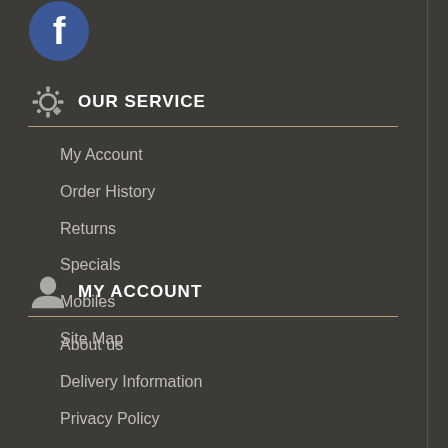[Figure (logo): Facebook circular logo icon, blue with white f letter]
OUR SERVICE
My Account
Order History
Returns
Specials
Mobiles
Site Map
MY ACCOUNT
About us
Delivery Information
Privacy Policy
Discount
Custom Service